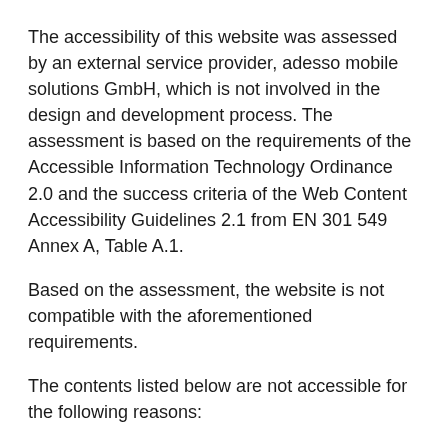The accessibility of this website was assessed by an external service provider, adesso mobile solutions GmbH, which is not involved in the design and development process. The assessment is based on the requirements of the Accessible Information Technology Ordinance 2.0 and the success criteria of the Web Content Accessibility Guidelines 2.1 from EN 301 549 Annex A, Table A.1.
Based on the assessment, the website is not compatible with the aforementioned requirements.
The contents listed below are not accessible for the following reasons:
1. On all pages of the website, the following test steps are not compatible with the standard:
a. Graphics in control elements such as the